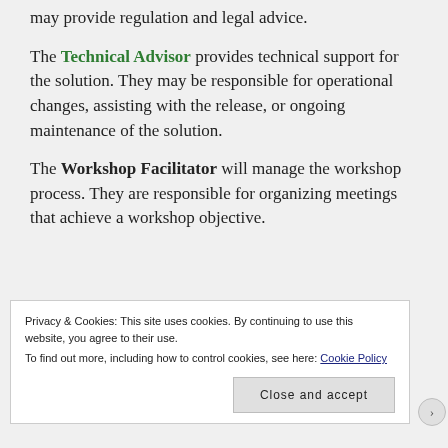may provide regulation and legal advice.
The Technical Advisor provides technical support for the solution. They may be responsible for operational changes, assisting with the release, or ongoing maintenance of the solution.
The Workshop Facilitator will manage the workshop process. They are responsible for organizing meetings that achieve a workshop objective.
Privacy & Cookies: This site uses cookies. By continuing to use this website, you agree to their use.
To find out more, including how to control cookies, see here: Cookie Policy
Close and accept